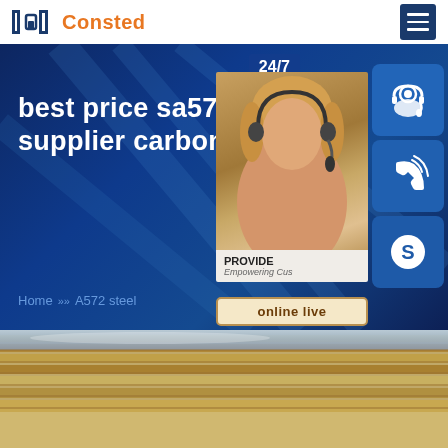Consted
best price sa573 gr 70 supplier carbon steel
Home » A572 steel
[Figure (screenshot): Customer service representative with headset, blue overlay panel showing 24/7, PROVIDE Empowering Customers text, online live button, and three blue icon buttons (headset, phone, Skype)]
[Figure (photo): Stack of carbon steel plates with golden/rust colored edges, close-up industrial photo]